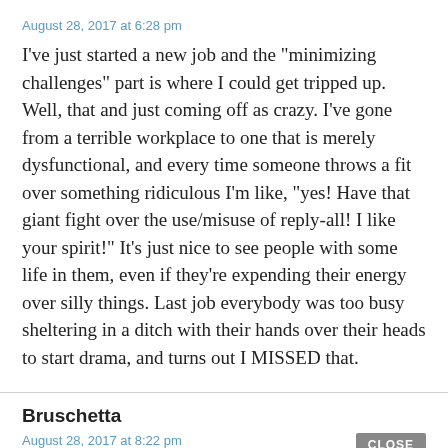August 28, 2017 at 6:28 pm
I’ve just started a new job and the “minimizing challenges” part is where I could get tripped up. Well, that and just coming off as crazy. I’ve gone from a terrible workplace to one that is merely dysfunctional, and every time someone throws a fit over something ridiculous I’m like, “yes! Have that giant fight over the use/misuse of reply-all! I like your spirit!” It’s just nice to see people with some life in them, even if they’re expending their energy over silly things. Last job everybody was too busy sheltering in a ditch with their hands over their heads to start drama, and turns out I MISSED that.
Bruschetta
August 28, 2017 at 8:22 pm
I think I’m at the BEC stage with my co-workers and it’s only my third week….ugh. They’re really social and I’m…